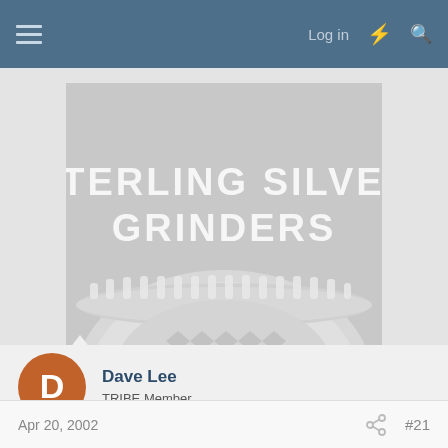Log in
[Figure (illustration): Sterling Silver Grinders product image — gray square image showing text 'STERLING SILVER GRINDERS' above a photo of a silver herb grinder with spiky teeth, shown from above against a gray background.]
Dave Lee
TRIBE Member
Apr 20, 2002  #21